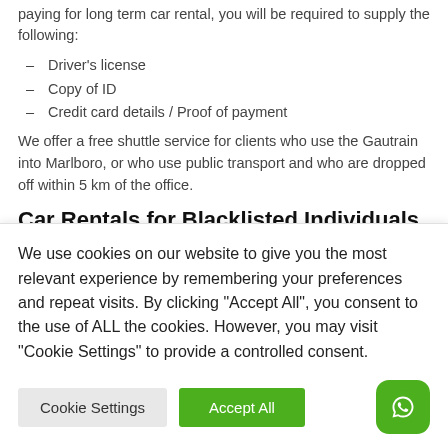paying for long term car rental, you will be required to supply the following:
Driver's license
Copy of ID
Credit card details / Proof of payment
We offer a free shuttle service for clients who use the Gautrain into Marlboro, or who use public transport and who are dropped off within 5 km of the office.
Car Rentals for Blacklisted Individuals
If you are blacklisted or under debt review, we can help. Pace is still able to assist with a reliable car for your family or business.
We use cookies on our website to give you the most relevant experience by remembering your preferences and repeat visits. By clicking "Accept All", you consent to the use of ALL the cookies. However, you may visit "Cookie Settings" to provide a controlled consent.